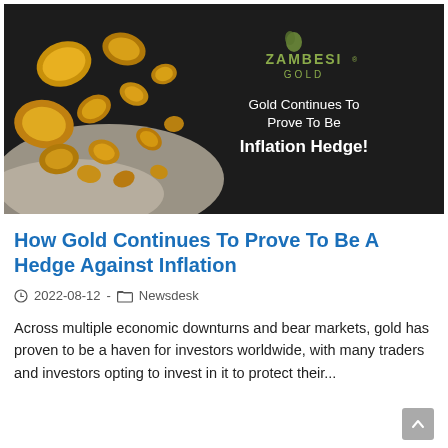[Figure (photo): Dark background image with gold nuggets scattered on a cloth on the left side, and Zambesi Gold logo with text 'Gold Continues To Prove To Be Inflation Hedge!' on the right side against a dark background.]
How Gold Continues To Prove To Be A Hedge Against Inflation
2022-08-12 · Newsdesk
Across multiple economic downturns and bear markets, gold has proven to be a haven for investors worldwide, with many traders and investors opting to invest in it to protect their...